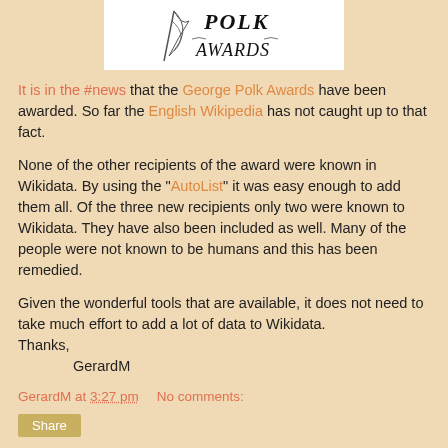[Figure (logo): George Polk Awards logo — partial view showing stylized figure and decorative text 'POLK AWARDS']
It is in the #news that the George Polk Awards have been awarded. So far the English Wikipedia has not caught up to that fact.
None of the other recipients of the award were known in Wikidata. By using the "AutoList" it was easy enough to add them all. Of the three new recipients only two were known to Wikidata. They have also been included as well. Many of the people were not known to be humans and this has been remedied.
Given the wonderful tools that are available, it does not need to take much effort to add a lot of data to Wikidata.
Thanks,
    GerardM
GerardM at 3:27 pm    No comments:
Share